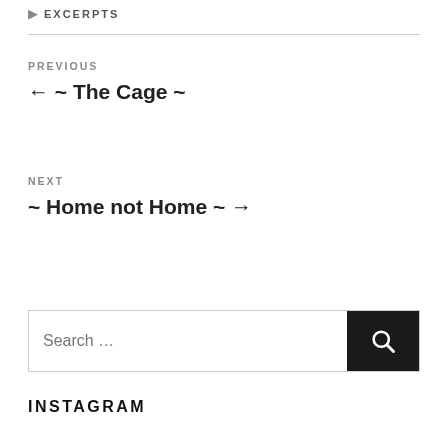EXCERPTS
PREVIOUS
← ~ The Cage ~
NEXT
~ Home not Home ~ →
Search …
INSTAGRAM